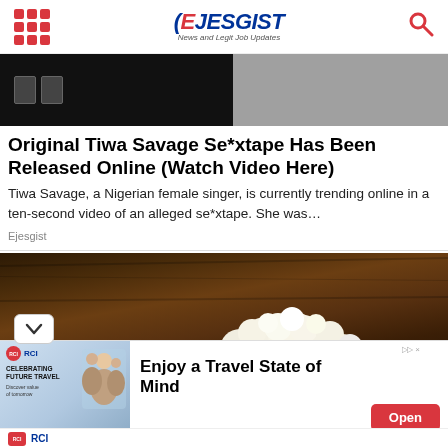EJESGIST - News and Legit Job Updates
[Figure (screenshot): Dark hero image strip showing TV/video player icons on black background, right side shows blurred figure]
Original Tiwa Savage Se*xtape Has Been Released Online (Watch Video Here)
Tiwa Savage, a Nigerian female singer, is currently trending online in a ten-second video of an alleged se*xtape. She was...
Ejesgist
[Figure (photo): Photo of white cauliflower on a dark wooden surface]
[Figure (infographic): Advertisement banner for RCI: Celebrating Future Travel. Enjoy a Travel State of Mind. Open button shown.]